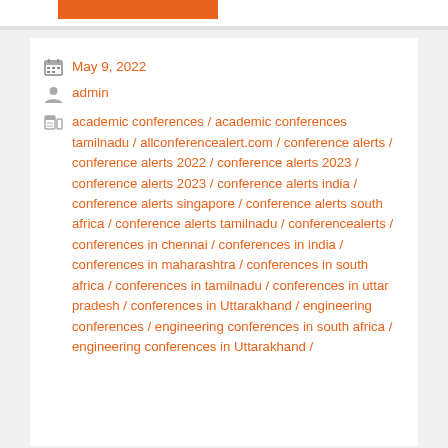[Figure (other): Orange button/banner at top of page]
May 9, 2022
admin
academic conferences / academic conferences tamilnadu / allconferencealert.com / conference alerts / conference alerts 2022 / conference alerts 2023 / conference alerts 2023 / conference alerts india / conference alerts singapore / conference alerts south africa / conference alerts tamilnadu / conferencealerts / conferences in chennai / conferences in india / conferences in maharashtra / conferences in south africa / conferences in tamilnadu / conferences in uttar pradesh / conferences in Uttarakhand / engineering conferences / engineering conferences in south africa / engineering conferences in Uttarakhand /